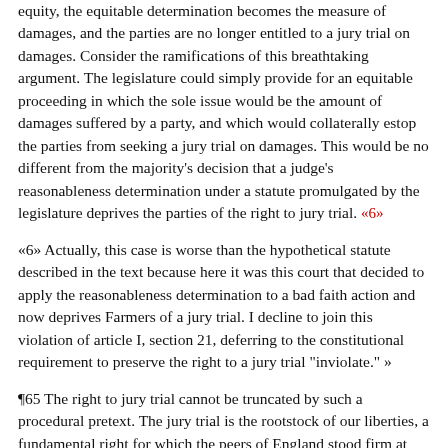equity, the equitable determination becomes the measure of damages, and the parties are no longer entitled to a jury trial on damages. Consider the ramifications of this breathtaking argument. The legislature could simply provide for an equitable proceeding in which the sole issue would be the amount of damages suffered by a party, and which would collaterally estop the parties from seeking a jury trial on damages. This would be no different from the majority's decision that a judge's reasonableness determination under a statute promulgated by the legislature deprives the parties of the right to jury trial. «6»
«6» Actually, this case is worse than the hypothetical statute described in the text because here it was this court that decided to apply the reasonableness determination to a bad faith action and now deprives Farmers of a jury trial. I decline to join this violation of article I, section 21, deferring to the constitutional requirement to preserve the right to a jury trial "inviolate." »
¶65 The right to jury trial cannot be truncated by such a procedural pretext. The jury trial is the rootstock of our liberties, a fundamental right for which the peers of England stood firm at Runnymede against King John, without which the original states refused to ratify the constitution until the bill of rights was added, and which article I, section 21 requires must remain "inviolate."
¶66 The majority's reasoning is also contrary to Sofie, in which we